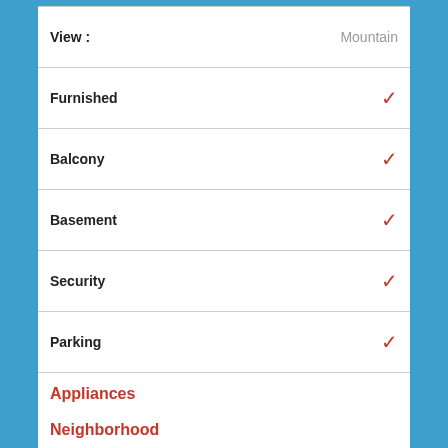View : Mountain
Furnished ✓
Balcony ✓
Basement ✓
Security ✓
Parking ✓
Appliances
Neighborhood
Shopping center
Town center
Police station
Bus station
Coffee shop